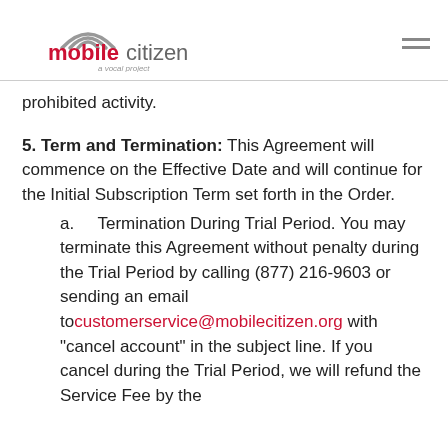mobile citizen — a vocal project
prohibited activity.
5. Term and Termination: This Agreement will commence on the Effective Date and will continue for the Initial Subscription Term set forth in the Order.
a.    Termination During Trial Period. You may terminate this Agreement without penalty during the Trial Period by calling (877) 216-9603 or sending an email to customerservice@mobilecitizen.org with “cancel account” in the subject line. If you cancel during the Trial Period, we will refund the Service Fee by the payment method that the payment was to...